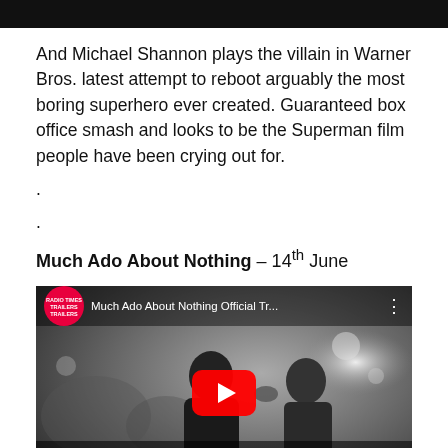[Figure (screenshot): Black bar at top of page]
And Michael Shannon plays the villain in Warner Bros. latest attempt to reboot arguably the most boring superhero ever created. Guaranteed box office smash and looks to be the Superman film people have been crying out for.
.
.
Much Ado About Nothing – 14th June
[Figure (screenshot): YouTube video thumbnail for 'Much Ado About Nothing Official Tr...' showing a black and white still of a man and woman facing each other, with a YouTube play button overlay and 'TRAILER' text at the bottom. A red 'TRAILERS' badge logo appears in the top left corner.]